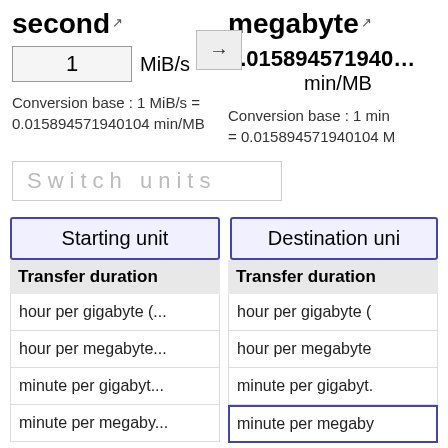second
megabyte
1 MiB/s
0.015894571940… min/MB
Conversion base : 1 MiB/s = 0.015894571940104 min/MB
Conversion base : 1 min = 0.015894571940104 M
Switch units
Starting unit
Destination uni
Transfer duration
Transfer duration
hour per gigabyte (...
hour per gigabyte (
hour per megabyte...
hour per megabyte
minute per gigabyt...
minute per gigabyt.
minute per megaby...
minute per megaby